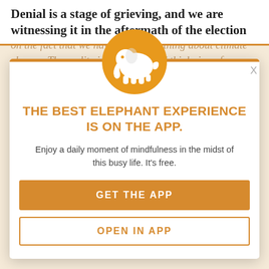Denial is a stage of grieving, and we are witnessing it in the aftermath of the election
It is hard to accept for some people that society has evolved throughout the last decades. Most people agree on the fact that we have to do something about climate change. The reality is that polarized thinking of our time is very much amplified and we are finding the more moderate voters up against bullies that tell them to stay in line Conservative folks are annoyed that their
[Figure (logo): Orange circle with white elephant logo]
THE BEST ELEPHANT EXPERIENCE IS ON THE APP.
Enjoy a daily moment of mindfulness in the midst of this busy life. It's free.
GET THE APP
OPEN IN APP